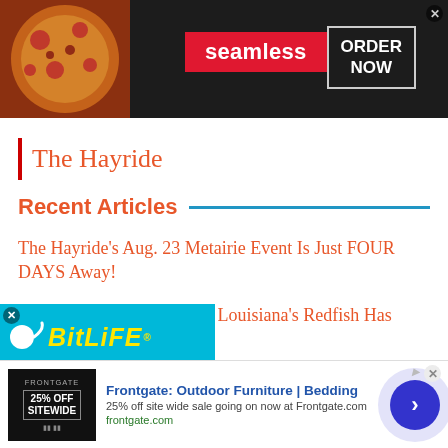[Figure (screenshot): Seamless food delivery advertisement banner with pizza image on left, red 'seamless' logo in center, and 'ORDER NOW' button on right, dark background]
The Hayride
Recent Articles
The Hayride's Aug. 23 Metairie Event Is Just FOUR DAYS Away!
MARSH MAN MASSON: Louisiana's Redfish Has Collapsed
Murder Of Mardi Gras Could Come
[Figure (screenshot): BitLife mobile game advertisement overlay with cyan background, sperm logo, yellow italic 'BitLiFE' text, and 'WHEN REAL LIFE IS QUARANTINED' tagline]
[Figure (screenshot): Frontgate: Outdoor Furniture | Bedding bottom advertisement with 25% off sale, frontgate.com URL, and navigation arrow button]